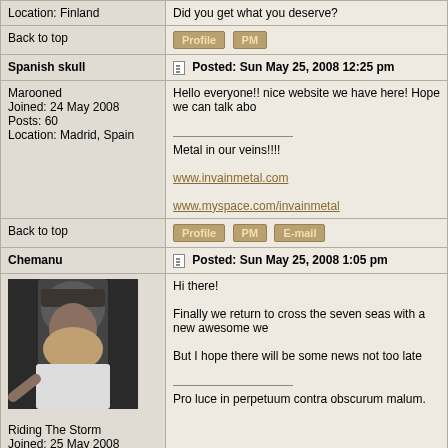Location: Finland
Did you get what you deserve?
Back to top
[Figure (other): Profile and PM buttons]
Spanish skull
Posted: Sun May 25, 2008 12:25 pm
Marooned
Joined: 24 May 2008
Posts: 60
Location: Madrid, Spain
Hello everyone!! nice website we have here! Hope we can talk abo

Metal in our veins!!!!

www.invainmetal.com

www.myspace.com/invainmetal
Back to top
[Figure (other): Profile, PM, and E-mail buttons]
Chemanu
Posted: Sun May 25, 2008 1:05 pm
[Figure (photo): Avatar photo of forum user Chemanu - person wearing a bandana]
Riding The Storm
Joined: 25 May 2008
Posts: 244
Location: La Rioja (Spain)
Hi there!

Finally we return to cross the seven seas with a new awesome we

But I hope there will be some news not too late

Pro luce in perpetuum contra obscurum malum.